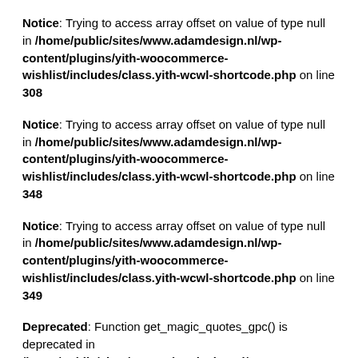Notice: Trying to access array offset on value of type null in /home/public/sites/www.adamdesign.nl/wp-content/plugins/yith-woocommerce-wishlist/includes/class.yith-wcwl-shortcode.php on line 308
Notice: Trying to access array offset on value of type null in /home/public/sites/www.adamdesign.nl/wp-content/plugins/yith-woocommerce-wishlist/includes/class.yith-wcwl-shortcode.php on line 348
Notice: Trying to access array offset on value of type null in /home/public/sites/www.adamdesign.nl/wp-content/plugins/yith-woocommerce-wishlist/includes/class.yith-wcwl-shortcode.php on line 349
Deprecated: Function get_magic_quotes_gpc() is deprecated in /home/public/sites/www.adamdesign.nl/wp-includes/formatting.php on line 4796